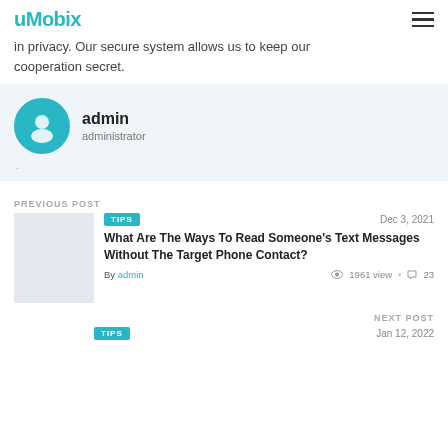uMobix
in privacy. Our secure system allows us to keep our cooperation secret.
[Figure (other): Author profile box with avatar icon, name 'admin', role 'administrator']
PREVIOUS POST
TIPS  Dec 3, 2021
What Are The Ways To Read Someone's Text Messages Without The Target Phone Contact?
By admin  1961 view  23
NEXT POST
TIPS  Jan 12, 2022